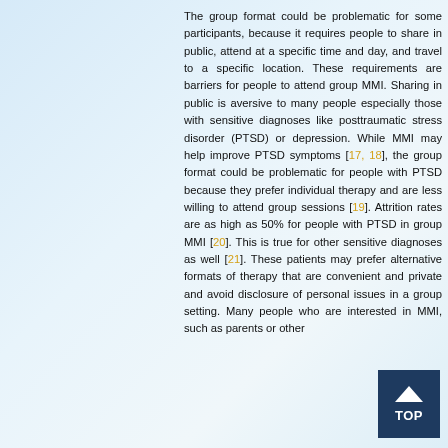The group format could be problematic for some participants, because it requires people to share in public, attend at a specific time and day, and travel to a specific location. These requirements are barriers for people to attend group MMI. Sharing in public is aversive to many people especially those with sensitive diagnoses like posttraumatic stress disorder (PTSD) or depression. While MMI may help improve PTSD symptoms [17, 18], the group format could be problematic for people with PTSD because they prefer individual therapy and are less willing to attend group sessions [19]. Attrition rates are as high as 50% for people with PTSD in group MMI [20]. This is true for other sensitive diagnoses as well [21]. These patients may prefer alternative formats of therapy that are convenient and private and avoid disclosure of personal issues in a group setting. Many people who are interested in MMI, such as parents or other